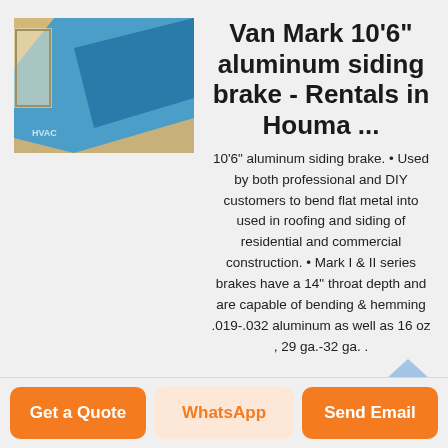[Figure (photo): Photo of Van Mark aluminum siding brake tool, showing blue material being bent, with a watermark 'HVAC' visible]
Van Mark 10'6" aluminum siding brake - Rentals in Houma ...
10'6" aluminum siding brake. • Used by both professional and DIY customers to bend flat metal into used in roofing and siding of residential and commercial construction. • Mark I & II series brakes have a 14" throat depth and are capable of bending & hemming .019-.032 aluminum as well as 16 oz , 29 ga.-32 ga. .
Get a Quote
WhatsApp
Send Email